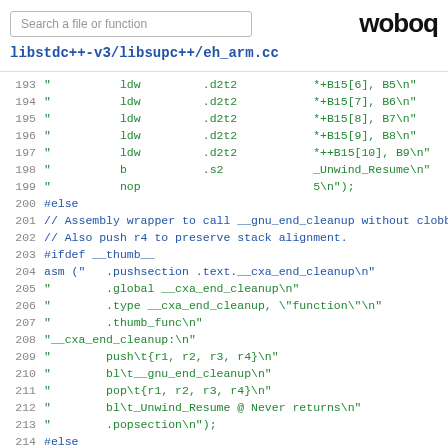Search a file or function | woboq
libstdc++-v3/libsupc++/eh_arm.cc
193  "          ldw         .d2t2           *+B15[6], B5\n"
194  "          ldw         .d2t2           *+B15[7], B6\n"
195  "          ldw         .d2t2           *+B15[8], B7\n"
196  "          ldw         .d2t2           *+B15[9], B8\n"
197  "          ldw         .d2t2           *++B15[10], B9\n"
198  "          b           .s2             _Unwind_Resume\n"
199  "          nop                         5\n");
200  #else
201  // Assembly wrapper to call __gnu_end_cleanup without clobber:
202  // Also push r4 to preserve stack alignment.
203  #ifdef __thumb__
204  asm ("   .pushsection .text.__cxa_end_cleanup\n"
205  "        .global __cxa_end_cleanup\n"
206  "        .type __cxa_end_cleanup, \"function\"\n"
207  "        .thumb_func\n"
208  "__cxa_end_cleanup:\n"
209  "        push\t{r1, r2, r3, r4}\n"
210  "        bl\t__gnu_end_cleanup\n"
211  "        pop\t{r1, r2, r3, r4}\n"
212  "        bl\t_Unwind_Resume @ Never returns\n"
213  "        .popsection\n");
214  #else
215  asm ("   .pushsection .text.__cxa_end_cleanup\n"
216  "        .global __cxa_end_cleanup\n"
217  "        .type __cxa_end_cleanup, \"function\"\n"
218  "__cxa_end_cleanup:\n"